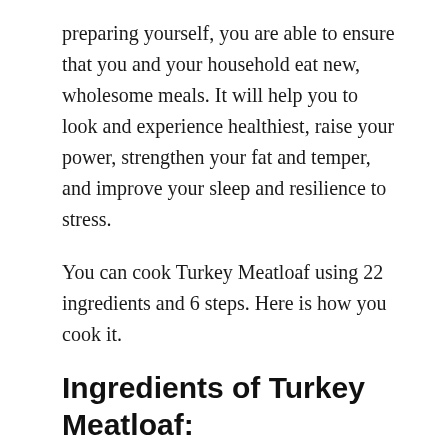preparing yourself, you are able to ensure that you and your household eat new, wholesome meals. It will help you to look and experience healthiest, raise your power, strengthen your fat and temper, and improve your sleep and resilience to stress.
You can cook Turkey Meatloaf using 22 ingredients and 6 steps. Here is how you cook it.
Ingredients of Turkey Meatloaf:
Prepare 1 1/4 lb of Turkey Meat.
Prepare 2 tbsp of butter.
It's 3 of Green Onions.